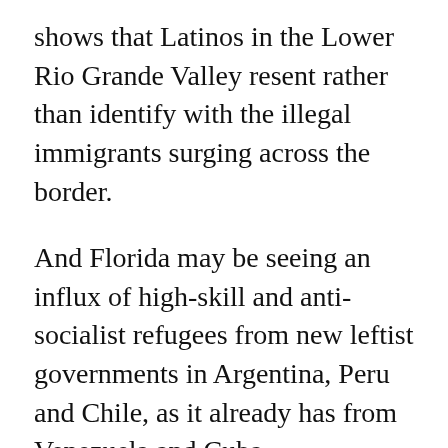shows that Latinos in the Lower Rio Grande Valley resent rather than identify with the illegal immigrants surging across the border.
And Florida may be seeing an influx of high-skill and anti-socialist refugees from new leftist governments in Argentina, Peru and Chile, as it already has from Venezuela and Cuba.